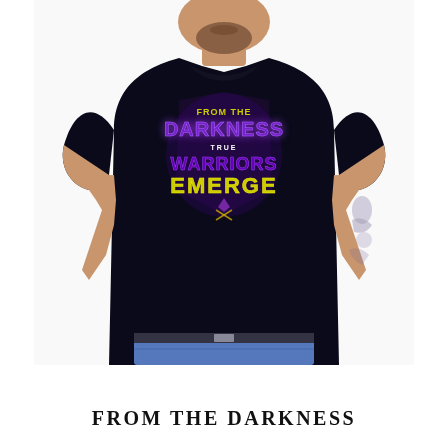[Figure (photo): A man wearing a black t-shirt with a graphic design reading 'From The Darkness True Warriors Emerge' in purple and yellow lettering. The man has tattoos on his right arm and is wearing blue jeans. Photo is taken from approximately chest-up, white background.]
FROM THE DARKNESS